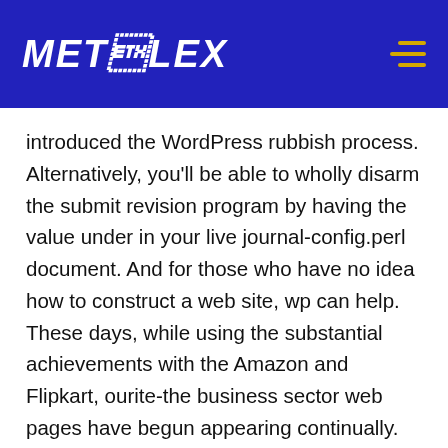METALEX
introduced the WordPress rubbish process. Alternatively, you'll be able to wholly disarm the submit revision program by having the value under in your live journal-config.perl document. And for those who have no idea how to construct a web site, wp can help. These days, while using the substantial achievements with the Amazon and Flipkart, ourite-the business sector web pages have begun appearing continually. This is among the various reasons as to why cPanel started off becoming more popular extremely fast. You're including unneeded value and additional time for you to give the button,